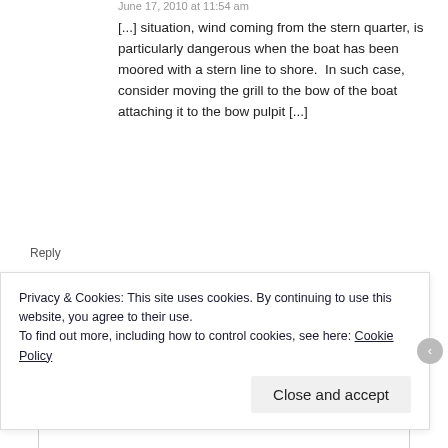June 17, 2010 at 11:54 am
[...] situation, wind coming from the stern quarter, is particularly dangerous when the boat has been moored with a stern line to shore.  In such case, consider moving the grill to the bow of the boat attaching it to the bow pulpit [...]
Reply
Leave a Reply
Your email address will not be published. Required fields are marked *
Comment *
Privacy & Cookies: This site uses cookies. By continuing to use this website, you agree to their use.
To find out more, including how to control cookies, see here: Cookie Policy
Close and accept